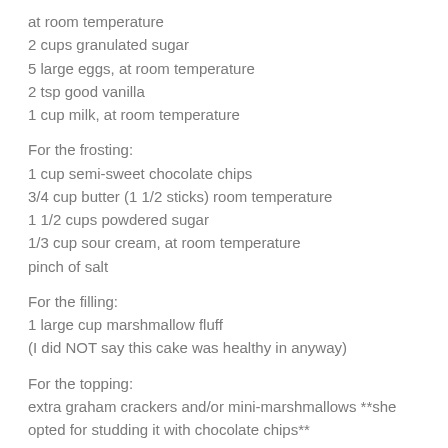at room temperature
2 cups granulated sugar
5 large eggs, at room temperature
2 tsp good vanilla
1 cup milk, at room temperature
For the frosting:
1 cup semi-sweet chocolate chips
3/4 cup butter (1 1/2 sticks) room temperature
1 1/2 cups powdered sugar
1/3 cup sour cream, at room temperature
pinch of salt
For the filling:
1 large cup marshmallow fluff
(I did NOT say this cake was healthy in anyway)
For the topping:
extra graham crackers and/or mini-marshmallows **she opted for studding it with chocolate chips**
1. Preheat oven to 350*F. Lightly grease the bottoms of two